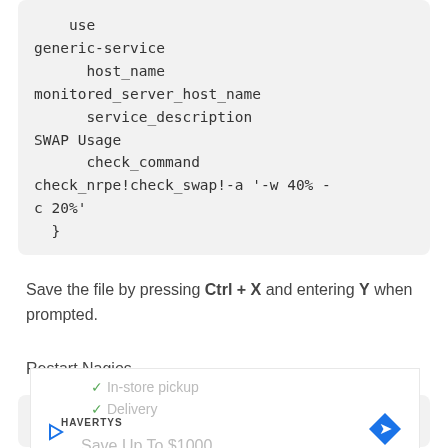[Figure (screenshot): Code block showing Nagios service definition configuration with generic-service, host_name, service_description SWAP Usage, check_command check_nrpe!check_swap!-a '-w 40% -c 20%' and closing brace]
Save the file by pressing Ctrl + X and entering Y when prompted.
Restart Nagios.
[Figure (screenshot): Code block showing: $ sudo systemctl restart nagios]